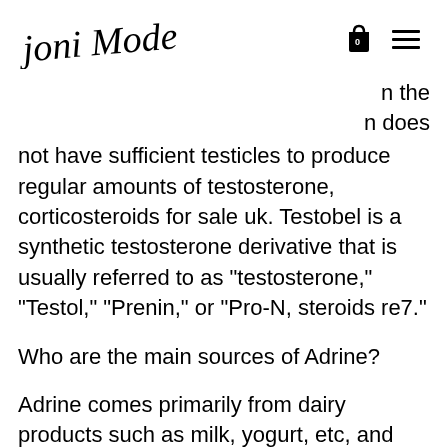joni mode [logo] [cart] [menu]
n the
n does
not have sufficient testicles to produce regular amounts of testosterone, corticosteroids for sale uk. Testobel is a synthetic testosterone derivative that is usually referred to as "testosterone," "Testol," "Prenin," or "Pro-N, steroids re7."
Who are the main sources of Adrine?
Adrine comes primarily from dairy products such as milk, yogurt, etc, and egg yolks , crazy bulk cutting stack guide. This is because Adrine is most commonly produced as a byproduct of the dairy industry, and there are numerous industries that make Adrine (some of them being the